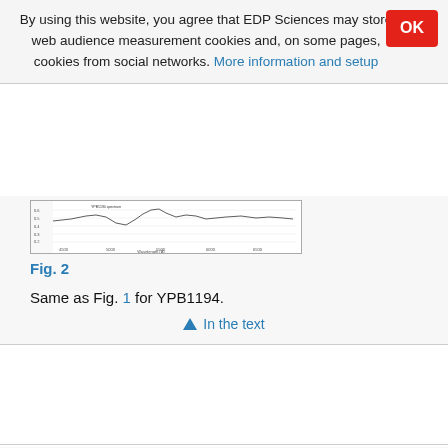By using this website, you agree that EDP Sciences may store web audience measurement cookies and, on some pages, cookies from social networks. More information and setup
[Figure (continuous-plot): Spectrum plot for Fig. 2 — flux vs wavelength showing absorption features for YPB1194]
Fig. 2
Same as Fig. 1 for YPB1194.
In the text
[Figure (continuous-plot): Spectrum plot for Fig. 3 — flux vs wavelength with deeper absorption features and residuals panel at bottom]
Fig. 3